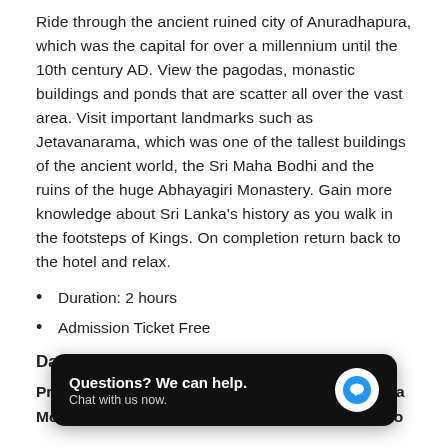Ride through the ancient ruined city of Anuradhapura, which was the capital for over a millennium until the 10th century AD. View the pagodas, monastic buildings and ponds that are scatter all over the vast area. Visit important landmarks such as Jetavanarama, which was one of the tallest buildings of the ancient world, the Sri Maha Bodhi and the ruins of the huge Abhayagiri Monastery. Gain more knowledge about Sri Lanka's history as you walk in the footsteps of Kings. On completion return back to the hotel and relax.
Duration: 2 hours
Admission Ticket Free
Day 3
Proceed to Ritigala ruins is Ritigala Mountain.On completion return to your hotel in Colombo
[Figure (screenshot): Chat support overlay widget with text 'Questions? We can help. Chat with us now.' and a blue speech bubble icon on dark background]